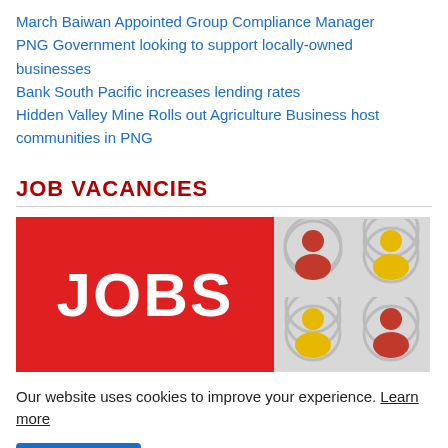March Baiwan Appointed Group Compliance Manager
PNG Government looking to support locally-owned businesses
Bank South Pacific increases lending rates
Hidden Valley Mine Rolls out Agriculture Business host communities in PNG
JOB VACANCIES
[Figure (illustration): Jobs banner with red left panel saying JOBS in white bold text, and grey right panel with colorful person icons in circular patterns]
Our website uses cookies to improve your experience. Learn more
Accept !